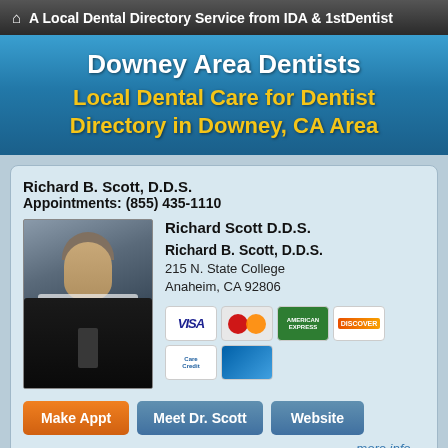A Local Dental Directory Service from IDA & 1stDentist
Downey Area Dentists
Local Dental Care for Dentist Directory in Downey, CA Area
Richard B. Scott, D.D.S.
Appointments: (855) 435-1110
[Figure (photo): Professional portrait photo of Richard B. Scott, D.D.S., a man in a dark suit]
Richard Scott D.D.S.
Richard B. Scott, D.D.S.
215 N. State College
Anaheim, CA 92806
[Figure (infographic): Payment method icons: VISA, MasterCard, American Express, Discover, CareCredit, and a blue card]
Make Appt
Meet Dr. Scott
Website
more info ...